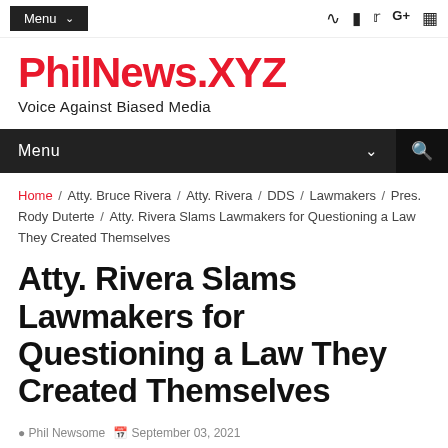Menu | RSS Facebook Twitter Google+ Instagram
PhilNews.XYZ
Voice Against Biased Media
Menu (navigation bar with search)
Home / Atty. Bruce Rivera / Atty. Rivera / DDS / Lawmakers / Pres. Rody Duterte / Atty. Rivera Slams Lawmakers for Questioning a Law They Created Themselves
Atty. Rivera Slams Lawmakers for Questioning a Law They Created Themselves
Phil Newsome   September 03, 2021   Atty. Bruce Rivera, Atty. Rivera, DDS, Lawmakers, Pres. Rody Duterte